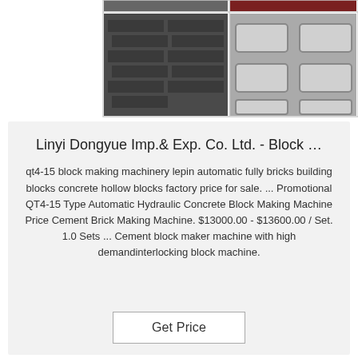[Figure (photo): Grid of 4 product photos showing concrete blocks and block-making machine molds]
Linyi Dongyue Imp.& Exp. Co. Ltd. - Block …
qt4-15 block making machinery lepin automatic fully bricks building blocks concrete hollow blocks factory price for sale. ... Promotional QT4-15 Type Automatic Hydraulic Concrete Block Making Machine Price Cement Brick Making Machine. $13000.00 - $13600.00 / Set. 1.0 Sets ... Cement block maker machine with high demandinterlocking block machine.
Get Price